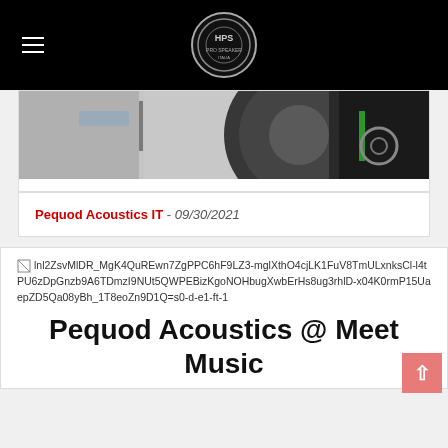HPS (logo) — site navigation header with hamburger menu
[Figure (photo): Partial view of a motorcycle wheel and bodywork, showing a large black tire, brake disc, green frame accent, and white/black fairings]
Pequod Acoustics IT - 09/30/2021
[Figure (photo): Broken image placeholder with long URL: lnl2ZsvMlDR_MgK4QuREwn7ZgPPC6hF9LZ3-mglXthO4cjLK1FuV8TmULxnksCl-l4tPU6zDpGnzb9A6TDmzI9NUt5QWPEBizKgoNOHbugXwbErHs8ug3rhlD-x04K0rmP15UaepZD5Qa08yBh_1T8eoZn9D1Q=s0-d-e1-ft-1]
Pequod Acoustics @ Meet Music